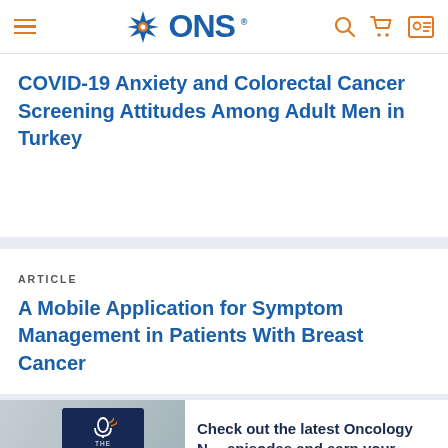ONS (Oncology Nursing Society) navigation header with logo, hamburger menu, search, cart, and profile icons
COVID-19 Anxiety and Colorectal Cancer Screening Attitudes Among Adult Men in Turkey
ARTICLE
A Mobile Application for Symptom Management in Patients With Breast Cancer
[Figure (photo): Podcast banner showing The Oncology Nursing Podcast logo on a smartphone with text: Check out the latest Oncology N... episodes and earn your NCP...]